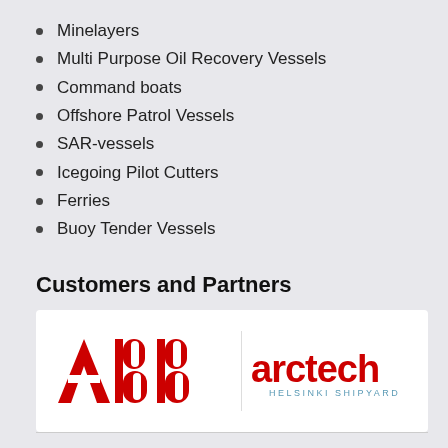Minelayers
Multi Purpose Oil Recovery Vessels
Command boats
Offshore Patrol Vessels
SAR-vessels
Icegoing Pilot Cutters
Ferries
Buoy Tender Vessels
Customers and Partners
[Figure (logo): ABB logo in red with white dividing lines, and arctech Helsinki Shipyard logo in red and blue text]